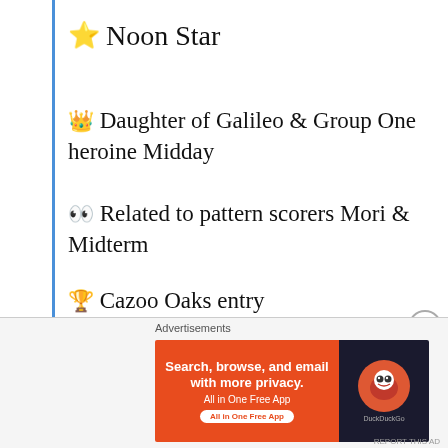⭐ Noon Star
👑 Daughter of Galileo & Group One heroine Midday
👀 Related to pattern scorers Mori & Midterm
🏆 Cazoo Oaks entry
Noon Star records a second career success for Sir Michael Stoute, @RKingscote &
Advertisements
[Figure (screenshot): DuckDuckGo advertisement banner: 'Search, browse, and email with more privacy. All in One Free App' on orange background with DuckDuckGo logo on dark background]